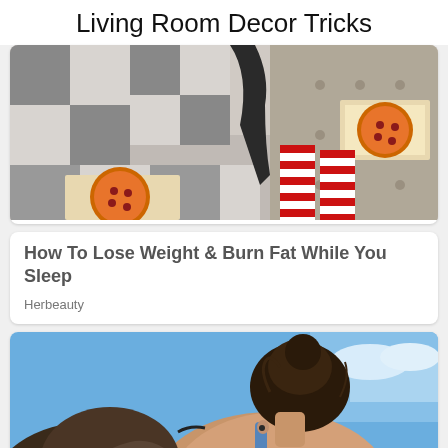Living Room Decor Tricks
[Figure (photo): Person sitting on a couch with pizza boxes, wearing red and white striped stockings on a checkered floor]
How To Lose Weight & Burn Fat While You Sleep
Herbeauty
[Figure (photo): Two people at a beach, woman in blue swimsuit with hair up, man beside her, blue sky background, with a red CLOSE button overlay]